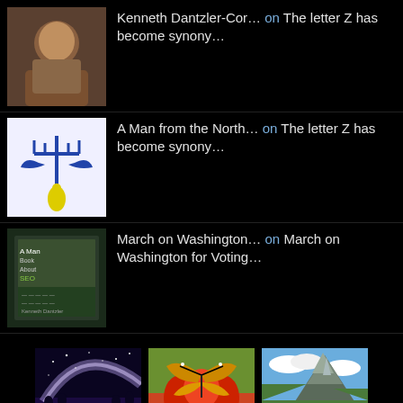Kenneth Dantzler-Cor… on The letter Z has become synony…
A Man from the North… on The letter Z has become synony…
March on Washington… on March on Washington for Voting…
[Figure (photo): Three thumbnail photos: night sky with milky way over lavender field, monarch butterfly on red flower, rocky mountain peaks]
More Photos
Search …